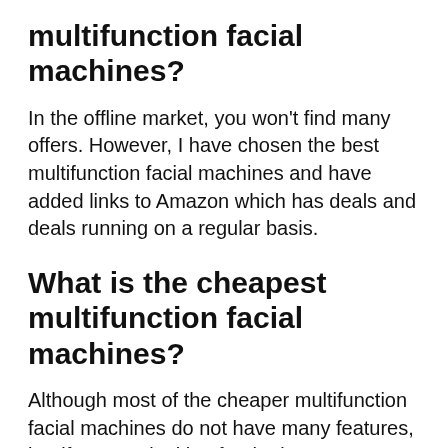multifunction facial machines?
In the offline market, you won't find many offers. However, I have chosen the best multifunction facial machines and have added links to Amazon which has deals and deals running on a regular basis.
What is the cheapest multifunction facial machines?
Although most of the cheaper multifunction facial machines do not have many features, but if you are looking for the best one at a low cost, my best bet would be on HDLWIS Facial Mask Machine, DIY Face Mask Machine Multi-Function Automatical Natural Fruit Vegetable Face Mask Maker with H...